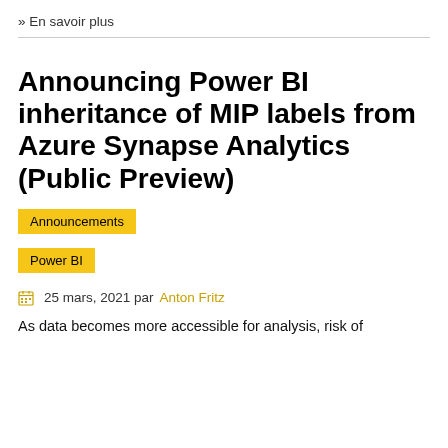» En savoir plus
Announcing Power BI inheritance of MIP labels from Azure Synapse Analytics (Public Preview)
Announcements
Power BI
25 mars, 2021 par Anton Fritz
As data becomes more accessible for analysis, risk of